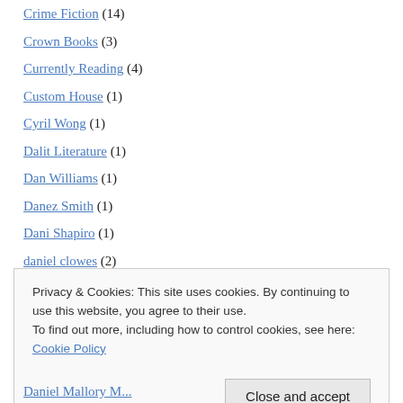Crime Fiction (14)
Crown Books (3)
Currently Reading (4)
Custom House (1)
Cyril Wong (1)
Dalit Literature (1)
Dan Williams (1)
Danez Smith (1)
Dani Shapiro (1)
daniel clowes (2)
Danish Translation (2)
Dark Fantasy (1)
Privacy & Cookies: This site uses cookies. By continuing to use this website, you agree to their use. To find out more, including how to control cookies, see here: Cookie Policy
Daniel Mallory M...